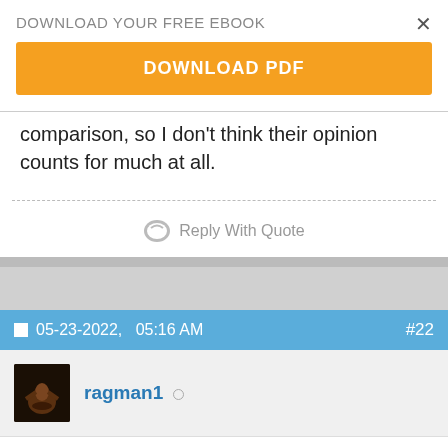DOWNLOAD YOUR FREE EBOOK
DOWNLOAD PDF
comparison, so I don't think their opinion counts for much at all.
Reply With Quote
05-23-2022,   05:16 AM  #22
ragman1
I'm sure she said 'And that's Kush Abadey on drugs'